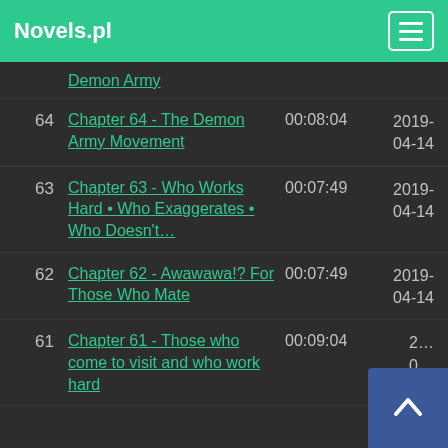Novels.pl
Demon Army
64  Chapter 64 - The Demon Army Movement  00:08:04  2019-04-14
63  Chapter 63 - Who Works Hard • Who Exaggerates • Who Doesn't...  00:07:49  2019-04-14
62  Chapter 62 - Awawawa!? For Those Who Mate  00:07:49  2019-04-14
61  Chapter 61 - Those who come to visit and who work hard  00:09:04  2019-04-14